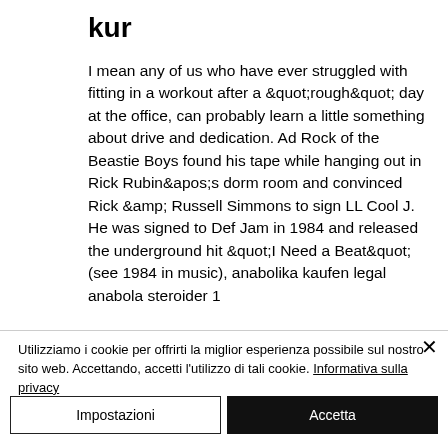kur
I mean any of us who have ever struggled with fitting in a workout after a &quot;rough&quot; day at the office, can probably learn a little something about drive and dedication. Ad Rock of the Beastie Boys found his tape while hanging out in Rick Rubin&apos;s dorm room and convinced Rick &amp; Russell Simmons to sign LL Cool J. He was signed to Def Jam in 1984 and released the underground hit &quot;I Need a Beat&quot; (see 1984 in music), anabolika kaufen legal anabola steroider 1
Utilizziamo i cookie per offrirti la miglior esperienza possibile sul nostro sito web. Accettando, accetti l’utilizzo di tali cookie. Informativa sulla privacy
Impostazioni
Accetta